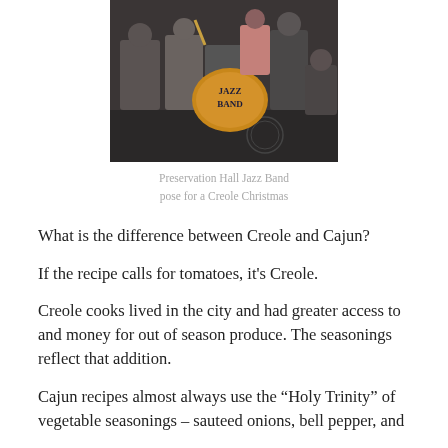[Figure (photo): Preservation Hall Jazz Band members posing together, one holding a large bass drum with 'Jazz Band' written on it]
Preservation Hall Jazz Band pose for a Creole Christmas
What is the difference between Creole and Cajun?
If the recipe calls for tomatoes, it's Creole.
Creole cooks lived in the city and had greater access to and money for out of season produce. The seasonings reflect that addition.
Cajun recipes almost always use the “Holy Trinity” of vegetable seasonings – sauteed onions, bell pepper, and